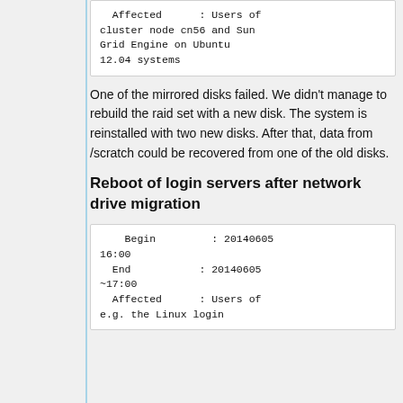Affected      : Users of cluster node cn56 and Sun Grid Engine on Ubuntu 12.04 systems
One of the mirrored disks failed. We didn't manage to rebuild the raid set with a new disk. The system is reinstalled with two new disks. After that, data from /scratch could be recovered from one of the old disks.
Reboot of login servers after network drive migration
Begin         : 20140605 16:00
  End           : 20140605 ~17:00
  Affected      : Users of e.g. the Linux login